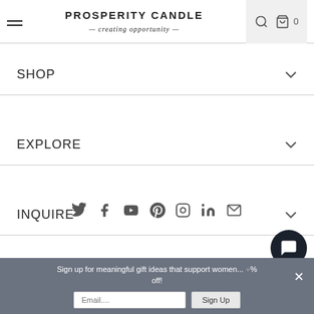PROSPERITY CANDLE — creating opportunity —
SHOP
EXPLORE
INQUIRE
413-203-5444
[Figure (infographic): Social media icons row: Twitter, Facebook, YouTube, Pinterest, Instagram, LinkedIn, Email]
© 2022 Prosperity Candle.
Sign up for meaningful gift ideas that support women... % off!